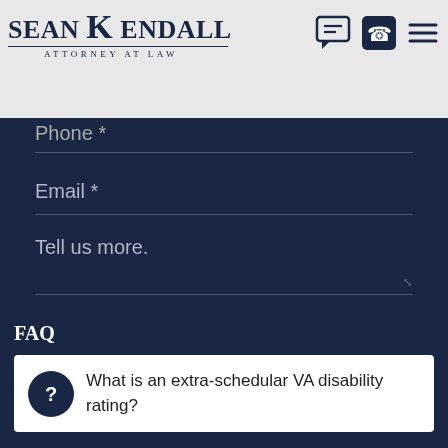[Figure (logo): Sean Kendall Attorney at Law logo with navigation icons (chat, phone, hamburger menu)]
Phone *
Email *
Tell us more.
SUBMIT
FAQ
What is an extra-schedular VA disability rating?